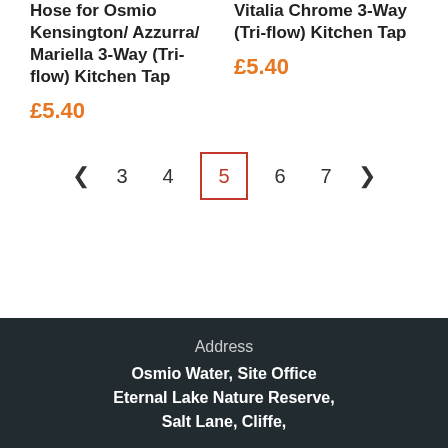Hose for Osmio Kensington/ Azzurra/ Mariella 3-Way (Tri-flow) Kitchen Tap
£5.40
Vitalia Chrome 3-Way (Tri-flow) Kitchen Tap
£5.40
◄  3  4  5  6  7  ►
Address
Osmio Water, Site Office
Eternal Lake Nature Reserve,
Salt Lane, Cliffe,